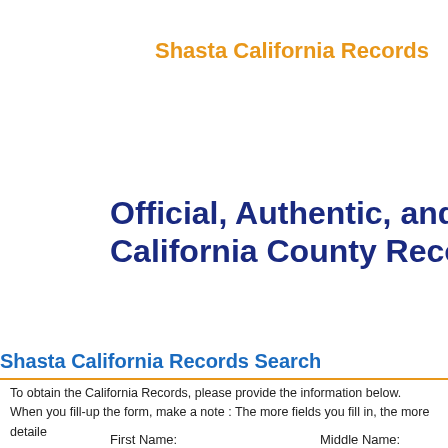Shasta California Records
Official, Authentic, and Up-to-date California County Records.
Shasta California Records Search
To obtain the California Records, please provide the information below.
When you fill-up the form, make a note : The more fields you fill in, the more details
First Name:
Middle Name: